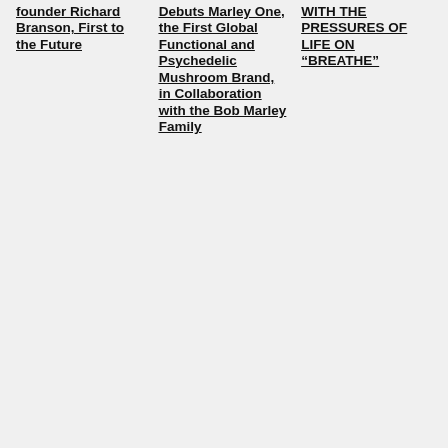founder Richard Branson, First to the Future
Debuts Marley One, the First Global Functional and Psychedelic Mushroom Brand, in Collaboration with the Bob Marley Family
WITH THE PRESSURES OF LIFE ON “BREATHE”